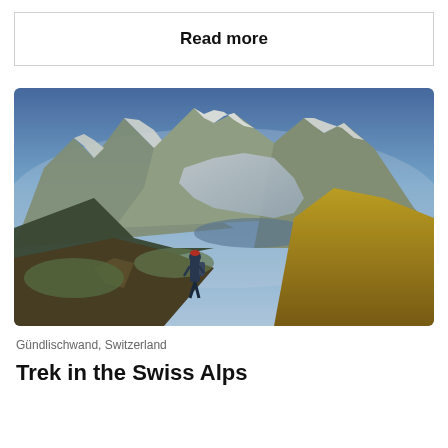Read more
[Figure (photo): A hiker standing on a mountain trail in the Swiss Alps, looking toward dramatic snow-capped peaks. Green and golden alpine meadows in the foreground, with glaciers and blue sky in the background. Location: Gündlischwand, Switzerland.]
Gündlischwand, Switzerland
Trek in the Swiss Alps